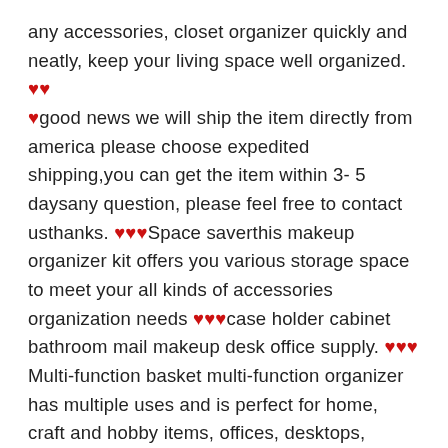any accessories, closet organizer quickly and neatly, keep your living space well organized. ♥♥ ♥good news we will ship the item directly from america please choose expedited shipping,you can get the item within 3- 5 daysany question, please feel free to contact usthanks. ♥♥♥Space saverthis makeup organizer kit offers you various storage space to meet your all kinds of accessories organization needs ♥♥♥case holder cabinet bathroom mail makeup desk office supply. ♥♥♥ Multi-function basket multi-function organizer has multiple uses and is perfect for home, craft and hobby items, offices, desktops, kitchen counter tops, and bathroom storage for beauty and hygiene products♥♥♥desktop office storage organizer creative round hollow flower design pen pencil holder organizer basket strap baskets storage bins cd dvd case holder. ♥♥♥Desktop organizer keep all your lipsticks, eyeshadows,